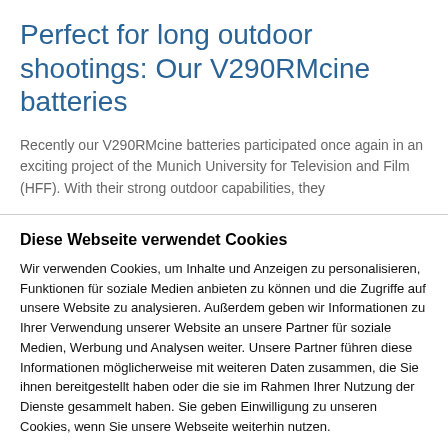Perfect for long outdoor shootings: Our V290RMcine batteries
Recently our V290RMcine batteries participated once again in an exciting project of the Munich University for Television and Film (HFF). With their strong outdoor capabilities, they
Diese Webseite verwendet Cookies
Wir verwenden Cookies, um Inhalte und Anzeigen zu personalisieren, Funktionen für soziale Medien anbieten zu können und die Zugriffe auf unsere Website zu analysieren. Außerdem geben wir Informationen zu Ihrer Verwendung unserer Website an unsere Partner für soziale Medien, Werbung und Analysen weiter. Unsere Partner führen diese Informationen möglicherweise mit weiteren Daten zusammen, die Sie ihnen bereitgestellt haben oder die sie im Rahmen Ihrer Nutzung der Dienste gesammelt haben. Sie geben Einwilligung zu unseren Cookies, wenn Sie unsere Webseite weiterhin nutzen.
Nur notwendige Cookies verwenden
Cookies zulassen
Details zeigen